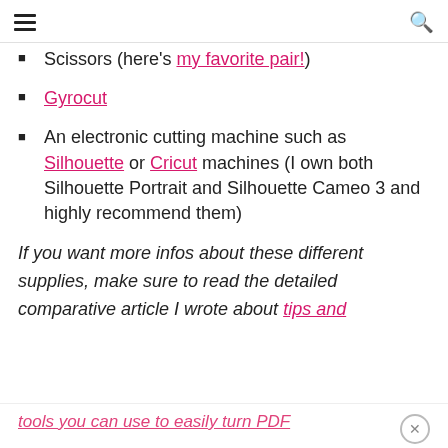≡  🔍
Scissors (here's my favorite pair!)
Gyrocut
An electronic cutting machine such as Silhouette or Cricut machines (I own both Silhouette Portrait and Silhouette Cameo 3 and highly recommend them)
If you want more infos about these different supplies, make sure to read the detailed comparative article I wrote about tips and
tools you can use to easily turn PDF